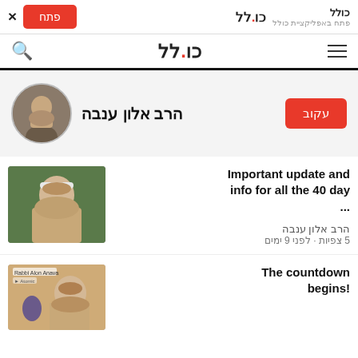× פתח | כולל פתח באפליקציית כולל
כולל (logo nav bar)
הרב אלון ענבה
עקוב (follow button)
Important update and info for all the 40 day...
הרב אלון ענבה
5 צפיות · לפני 9 ימים
[Figure (photo): Photo of Rabbi Alon Anava smiling, wearing white kippah, outdoors]
The countdown begins!
[Figure (photo): Photo of Rabbi Alon Anava blowing a shofar, text overlay: Rabbi Alon Anava, Atomic]